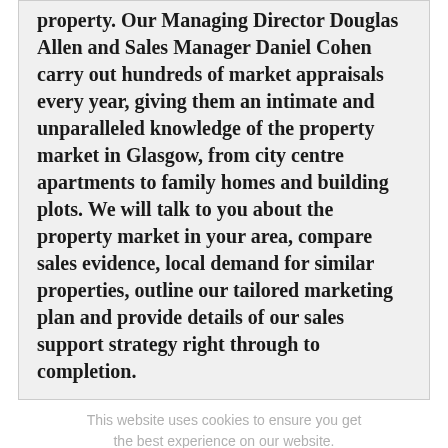Sales Manager Daniel Cohen carry out hundreds of market appraisals every year, giving them an intimate and unparalleled knowledge of the property market in Glasgow, from city centre apartments to family homes and building plots. We will talk to you about the property market in your area, compare sales evidence, local demand for similar properties, outline our tailored marketing plan and provide details of our sales support strategy right through to completion.
This website uses cookies to ensure you get the best experience on our website.
Categories
Home Trends
Local Events
Local News